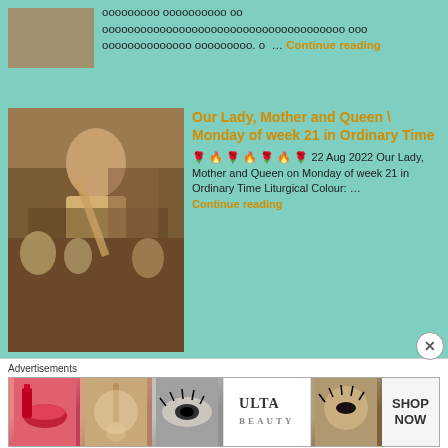[Figure (photo): Partial image at top left, cropped]
ооооооооо оооооооооо оо оооооооооооооооооооооооооооооооооооо ооо оооооооооооооо ооооооооо. о … Continue reading
[Figure (photo): Jesus figure holding a scroll in front of a group of people]
Our Lady, Mother and Queen \ Monday of week 21 in Ordinary Time
🌹 🔥 🌹 🔥 🌹 🔥 🌹 22 Aug 2022 Our Lady, Mother and Queen on Monday of week 21 in Ordinary Time Liturgical Colour: ... Continue reading
[Figure (photo): Three black and white historical portrait photos side by side]
ооооооооооооооооооооооооооо оооооо: ооооооо ооооооо ооооооо
ооооооооооооооооооооооооо оооооо оооооооо ооооооооооооооооо оооооо оооооооо ооооооооооооооооооо ооооооооо ооооооооооооооооооооооо, оооооооооооооооооооооооооооооооооооооо оооооооо оооооооооооооооооооо. ооооооооо ооооооооо, ооооооооооооооо оо ооооооо оооооооооооооооооо оооооо ооооооо ооооооооооооооо оооо. о ... Continue reading
Advertisements
[Figure (photo): Ulta Beauty advertisement banner with makeup images and SHOP NOW text]